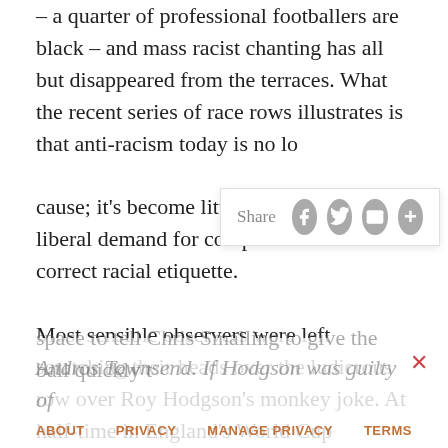– a quarter of professional footballers are black – and mass racist chanting has all but disappeared from the terraces. What the recent series of race rows illustrates is that anti-racism today is no longer a radical cause; it's become little more than an liberal demand for compliance with the correct racial etiquette.
[Figure (other): Share overlay widget with Share label and social media icon buttons (Facebook, Twitter, Email, Plus)]
Most sensible observers were left scratching their heads over the ludicrous row over Roy Hodgson's monkey joke. At half-time in England's World Cup qualifier against Poland, Hodgson used a somewhat convoluted metaphor about launching a monkey into space to tell Chris Smalling to give the ball quickly to
Andros Townsend. If Hodgson was guilty of
ABOUT   PRIVACY   MANAGE PRIVACY   TERMS